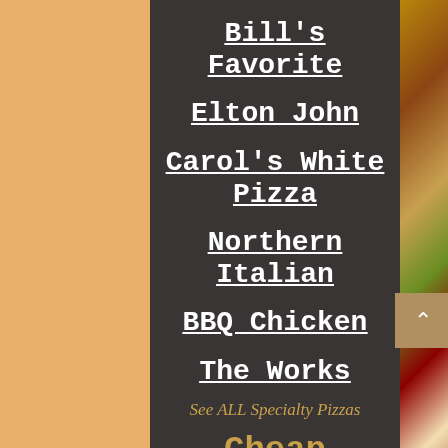Bill's Favorite
Elton John
Carol's White Pizza
Northern Italian
BBQ Chicken
The Works
See ALL Specialty Pizzas
Cheap Drinks
[Figure (photo): Close-up photo of a pizza with toppings including red onion, red pepper, white cheese, and green vegetables]